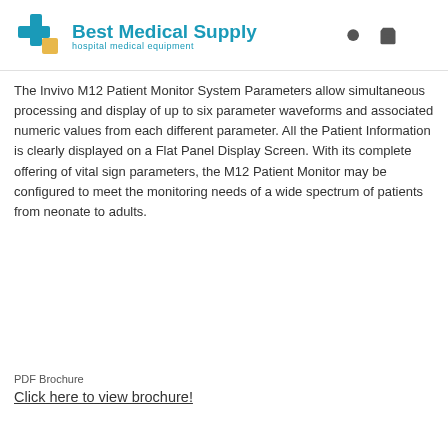Best Medical Supply — hospital medical equipment
The Invivo M12 Patient Monitor System Parameters allow simultaneous processing and display of up to six parameter waveforms and associated numeric values from each different parameter. All the Patient Information is clearly displayed on a Flat Panel Display Screen. With its complete offering of vital sign parameters, the M12 Patient Monitor may be configured to meet the monitoring needs of a wide spectrum of patients from neonate to adults.
PDF Brochure
Click here to view brochure!